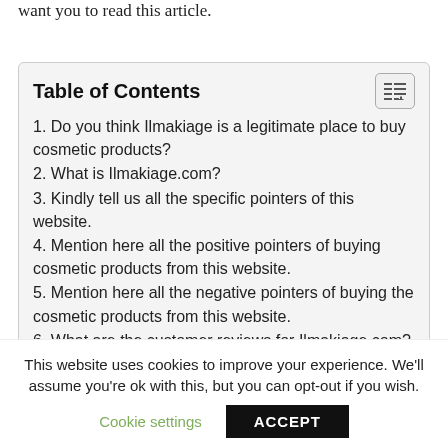want you to read this article.
Table of Contents
1. Do you think Ilmakiage is a legitimate place to buy cosmetic products?
2. What is Ilmakiage.com?
3. Kindly tell us all the specific pointers of this website.
4. Mention here all the positive pointers of buying cosmetic products from this website.
5. Mention here all the negative pointers of buying the cosmetic products from this website.
6. What are the customer reviews for Ilmakiage.com?
7. Final Verdict
This website uses cookies to improve your experience. We'll assume you're ok with this, but you can opt-out if you wish.
Cookie settings   ACCEPT